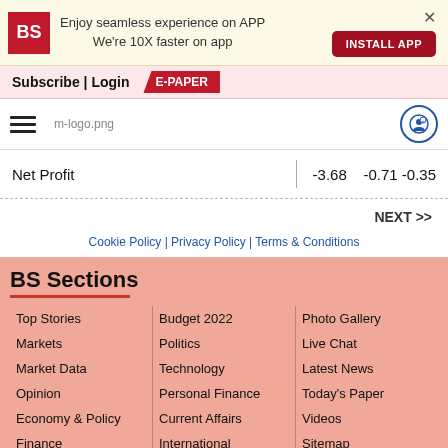[Figure (screenshot): Business Standard app install banner with BS logo, text 'Enjoy seamless experience on APP We're 10X faster on app', INSTALL APP button, and close X]
Subscribe | Login
E-PAPER
[Figure (logo): Hamburger menu icon, m-logo.png placeholder, and circular user icon]
|  |  |  |  |
| --- | --- | --- | --- |
| Net Profit |  | -3.68 | -0.71 -0.35 |
NEXT >>
Cookie Policy | Privacy Policy | Terms & Conditions
BS Sections
Top Stories
Markets
Market Data
Opinion
Economy & Policy
Finance
Budget 2022
Politics
Technology
Personal Finance
Current Affairs
International
Photo Gallery
Live Chat
Latest News
Today's Paper
Videos
Sitemap